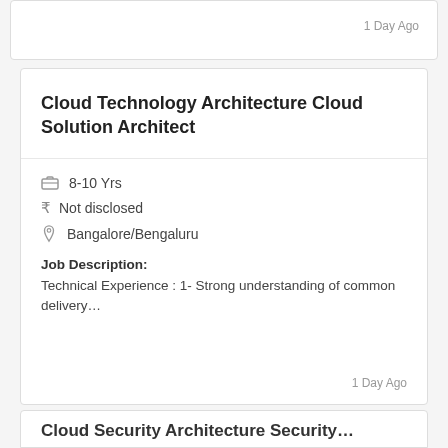1 Day Ago
Cloud Technology Architecture Cloud Solution Architect
8-10 Yrs
Not disclosed
Bangalore/Bengaluru
Job Description:
Technical Experience : 1- Strong understanding of common delivery…
1 Day Ago
Cloud Security Architecture Security…